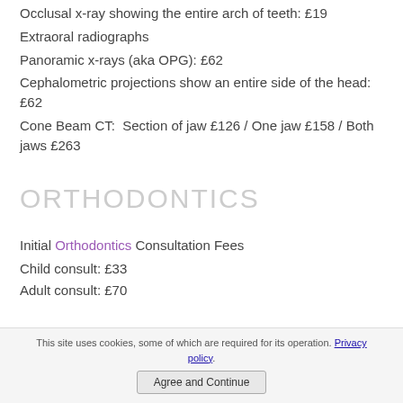Occlusal x-ray showing the entire arch of teeth: £19
Extraoral radiographs
Panoramic x-rays (aka OPG): £62
Cephalometric projections show an entire side of the head: £62
Cone Beam CT:  Section of jaw £126 / One jaw £158 / Both jaws £263
ORTHODONTICS
Initial Orthodontics Consultation Fees
Child consult: £33
Adult consult: £70
This site uses cookies, some of which are required for its operation. Privacy policy.